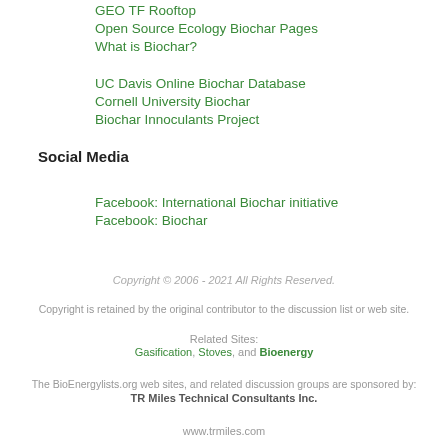GEO TF Rooftop
Open Source Ecology Biochar Pages
What is Biochar?
UC Davis Online Biochar Database
Cornell University Biochar
Biochar Innoculants Project
Social Media
Facebook: International Biochar initiative
Facebook: Biochar
Copyright © 2006 - 2021 All Rights Reserved.
Copyright is retained by the original contributor to the discussion list or web site.
Related Sites: Gasification, Stoves, and Bioenergy
The BioEnergylists.org web sites, and related discussion groups are sponsored by: TR Miles Technical Consultants Inc.
www.trmiles.com